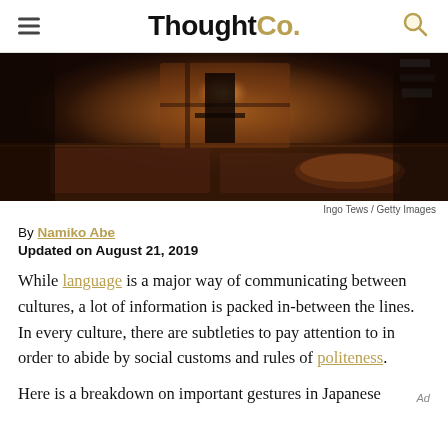ThoughtCo.
[Figure (photo): Dark interior photo of a Japanese-style room with tatami mats, cushions, and warm amber lighting from a window]
Ingo Tews / Getty Images
By Namiko Abe
Updated on August 21, 2019
While language is a major way of communicating between cultures, a lot of information is packed in-between the lines. In every culture, there are subtleties to pay attention to in order to abide by social customs and rules of politeness.
Here is a breakdown on important gestures in Japanese